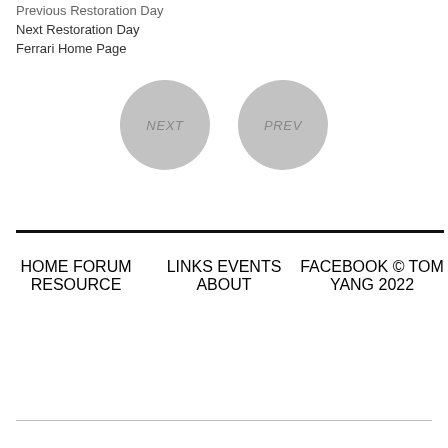Previous Restoration Day
Next Restoration Day
Ferrari Home Page
[Figure (other): Two circular grey navigation buttons labeled NEXT and PREV]
HOME FORUM RESOURCE | LINKS EVENTS ABOUT | FACEBOOK © TOM YANG 2022